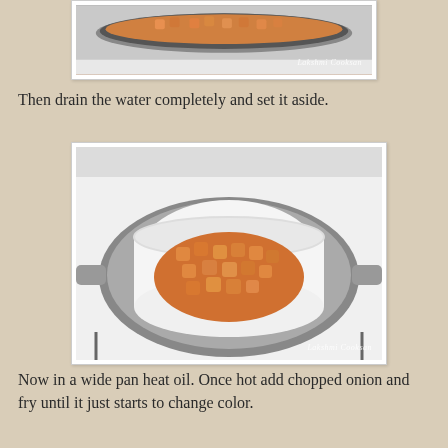[Figure (photo): Top portion of a photo showing diced orange/yellow vegetables (likely pumpkin or carrot) in a pan on a gas stove, with watermark 'Lakshmi Cooksan']
Then drain the water completely and set it aside.
[Figure (photo): A white bowl containing diced orange/yellow vegetables (pumpkin or carrot cubes) placed inside a pan on a gas stove, with watermark 'Lakshmi Cooksan']
Now in a wide pan heat oil. Once hot add chopped onion and fry until it just starts to change color.
[Figure (photo): Bottom portion of a photo partially visible, showing a pan on a gas stove]